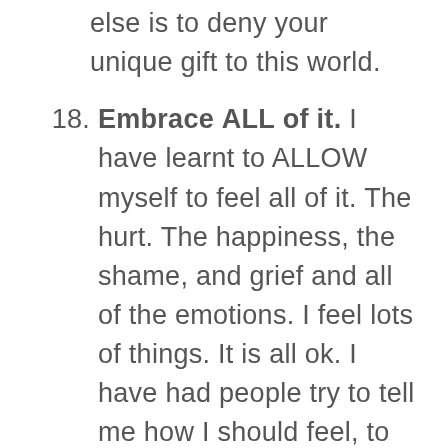else is to deny your unique gift to this world.
18. Embrace ALL of it. I have learnt to ALLOW myself to feel all of it. The hurt. The happiness, the shame, and grief and all of the emotions. I feel lots of things. It is all ok. I have had people try to tell me how I should feel, to shut it out, upshot away... Shutting it out, means shutting myself and everyone else out too. This is your humanity. This is a gift.